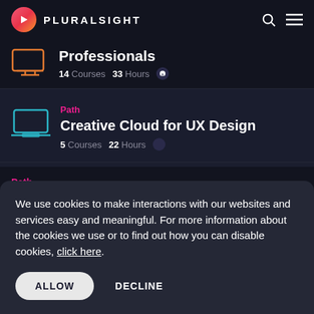[Figure (logo): Pluralsight logo with play button icon and brand name]
Professionals
14 Courses  33 Hours
Path
Creative Cloud for UX Design
5 Courses  22 Hours
Path
We use cookies to make interactions with our websites and services easy and meaningful. For more information about the cookies we use or to find out how you can disable cookies, click here.
ALLOW  DECLINE